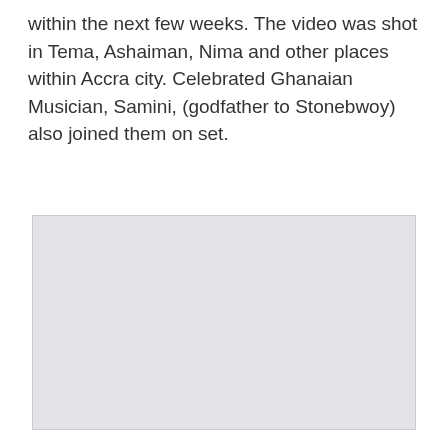within the next few weeks. The video was shot in Tema, Ashaiman, Nima and other places within Accra city. Celebrated Ghanaian Musician, Samini, (godfather to Stonebwoy) also joined them on set.
[Figure (photo): A blank light gray placeholder image box with a thin gray border]